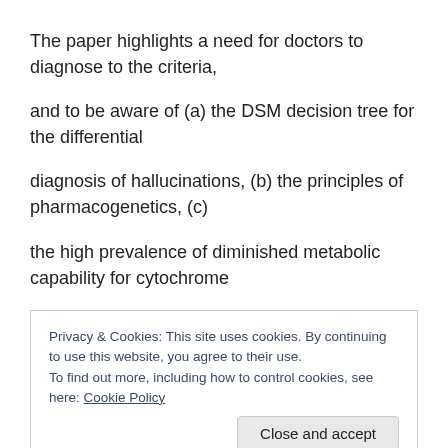The paper highlights a need for doctors to diagnose to the criteria,
and to be aware of (a) the DSM decision tree for the differential
diagnosis of hallucinations, (b) the principles of pharmacogenetics, (c)
the high prevalence of diminished metabolic capability for cytochrome
Privacy & Cookies: This site uses cookies. By continuing to use this website, you agree to their use.
To find out more, including how to control cookies, see here: Cookie Policy